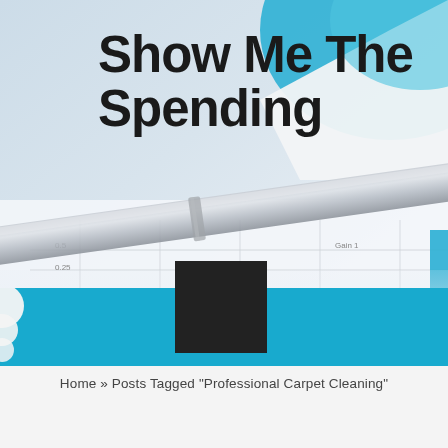[Figure (photo): Background photo showing a financial chart/pie chart with a pen/pencil resting on it, blurred background with blue pie chart segment and graph grid lines visible]
Show Me The Spending
[Figure (photo): Teal/cyan horizontal banner strip with decorative circles on the left edge and a dark square profile image placeholder in the center]
Home » Posts Tagged "Professional Carpet Cleaning"